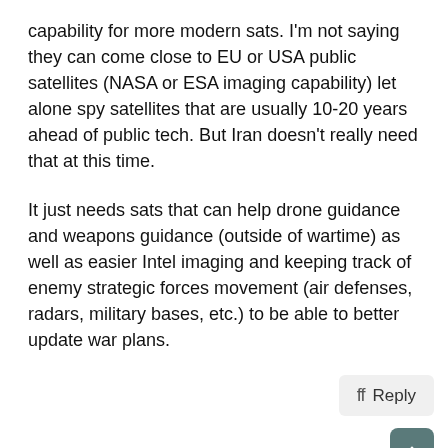capability for more modern sats. I'm not saying they can come close to EU or USA public satellites (NASA or ESA imaging capability) let alone spy satellites that are usually 10-20 years ahead of public tech. But Iran doesn't really need that at this time.
It just needs sats that can help drone guidance and weapons guidance (outside of wartime) as well as easier Intel imaging and keeping track of enemy strategic forces movement (air defenses, radars, military bases, etc.) to be able to better update war plans.
Like: 1
yavar
SENIOR MEMBER